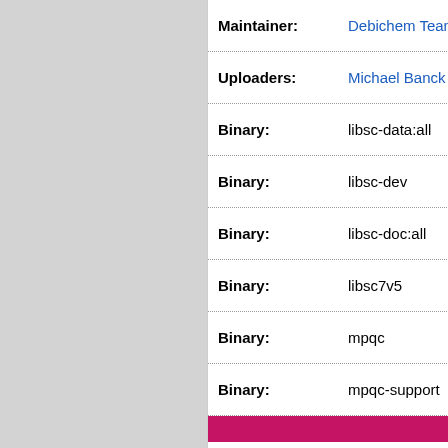| Field | Value |
| --- | --- |
| Maintainer: | Debichem Team < |
| Uploaders: | Michael Banck <m |
| Binary: | libsc-data:all |
| Binary: | libsc-dev |
| Binary: | libsc-doc:all |
| Binary: | libsc7v5 |
| Binary: | mpqc |
| Binary: | mpqc-support |
| Source: | msxpertsuite |
| Maintainer: | The Debichem Gr |
| Uploaders: | Filippo Rusconi <l |
| Binary: | msxpertsuite |